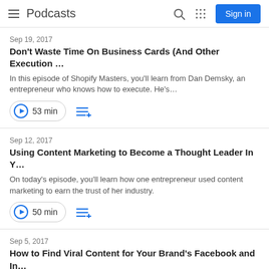Podcasts
Sep 19, 2017
Don't Waste Time On Business Cards (And Other Execution …
In this episode of Shopify Masters, you'll learn from Dan Demsky, an entrepreneur who knows how to execute. He's…
53 min
Sep 12, 2017
Using Content Marketing to Become a Thought Leader In Y…
On today's episode, you'll learn how one entrepreneur used content marketing to earn the trust of her industry.
50 min
Sep 5, 2017
How to Find Viral Content for Your Brand's Facebook and In…
On today's episode, an entrepreneur shares her step-by-step